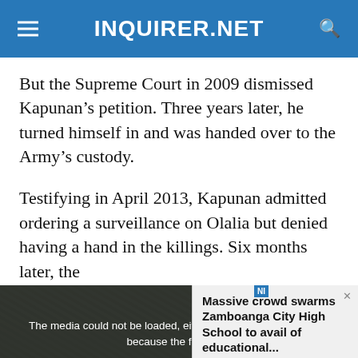INQUIRER.NET
But the Supreme Court in 2009 dismissed Kapunan’s petition. Three years later, he turned himself in and was handed over to the Army’s custody.
Testifying in April 2013, Kapunan admitted ordering a surveillance on Olalia but denied having a hand in the killings. Six months later, the
[Figure (screenshot): Video player showing media error overlay: 'The media could not be loaded, either because the server or network failed or because the format is not supported.' Over a crowd photo with text 'MASSIVE CROWD SWARMS ZAMBOANGA CITY HIGH SCHOOL TO AVAIL OF EDUCATIONAL AID'. Side panel headline: 'Massive crowd swarms Zamboanga City High School to avail of educational...' with close button. Bottom close bar with X symbol.]